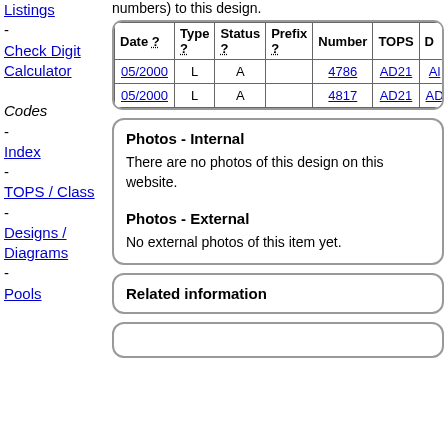numbers) to this design.
| Date ? | Type ? | Status ? | Prefix ? | Number | TOPS | D... |
| --- | --- | --- | --- | --- | --- | --- |
| 05/2000 | L | A |  | 4786 | AD21 | Al... |
| 05/2000 | L | A |  | 4817 | AD21 | AD... |
Listings
Check Digit Calculator
Codes
Index
TOPS / Class
Designs / Diagrams
Pools
Photos - Internal
There are no photos of this design on this website.
Photos - External
No external photos of this item yet.
Related information